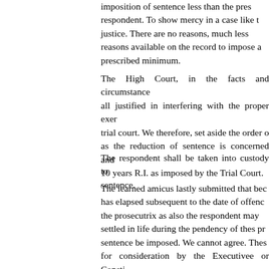imposition of sentence less than the prescribed minimum respondent. To show mercy in a case like this would be travesty of justice. There are no reasons, much less special reasons available on the record to impose a lesser sentence than the prescribed minimum.
The High Court, in the facts and circumstances of the case, was not at all justified in interfering with the proper exercise of discretion by the trial court. We therefore, set aside the order of the High Court in so far as the reduction of sentence is concerned and restored the sentence of 10 years R.I. as imposed by the Trial Court.
The respondent shall be taken into custody to serve out the sentence.
The learned amicus lastly submitted that because considerable time has elapsed subsequent to the date of offence, the prosecutrix as also the respondent may have settled in life during the pendency of thes proceedings and lesser sentence be imposed. We cannot agree. These are considerations for consideration by the Executivee or Constitutional authorities if they chose to remit the sentence on bing so approached as was done in Jai kishore vs.State of H.P.
[(2000) 4 Sec 502, Pr. 25] case (supra), but as far as judicial conscience is concerned we find no reason to go contrary to the mandate and award any lesser sentence.
The appeal succeeds and is allowed in the above terms.